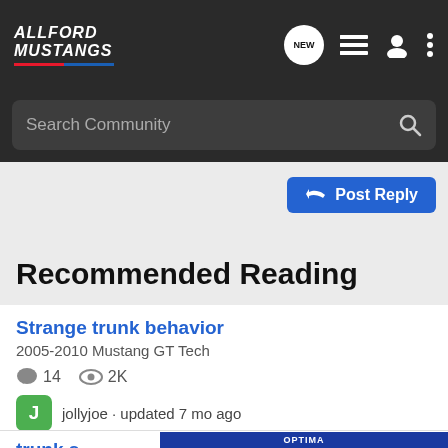AllFord Mustangs — navigation bar with Search Community, NEW posts, list view, user icon, menu
Search Community
Post Reply
Recommended Reading
Strange trunk behavior
2005-2010 Mustang GT Tech
14  2K
jollyjoe · updated 7 mo ago
trunk s...
2005-20...